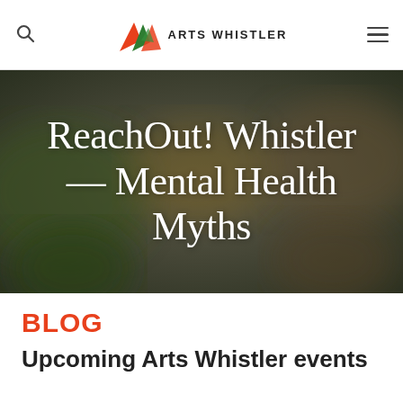Arts Whistler [logo and navigation]
[Figure (photo): Dark blurred background image with white handwritten-style script text reading 'ReachOut! Whistler — Mental Health Myths']
BLOG
Upcoming Arts Whistler events